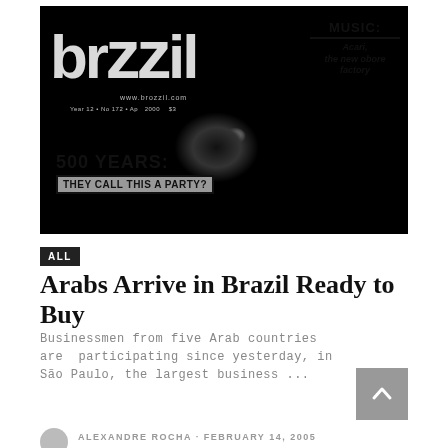[Figure (photo): Black and white magazine cover of Brazzil magazine showing a close-up of a human face/eye in grayscale. The cover includes the large 'brazzil' logo text, website www.brazzil.com, issue information 'Year 12 • No 172 • Ap 2000 $3', a MUSIC section mentioning 'Acari, the new obore factory', and a '500 YEARS: THEY CALL THIS A PARTY?' headline with bordered text box.]
ALL
Arabs Arrive in Brazil Ready to Buy
Businessmen from five Arab countries are  participating since yesterday, in São Paulo, the largest business ...
ALEXANDRE ROCHA · FEBRUARY 14, 2005